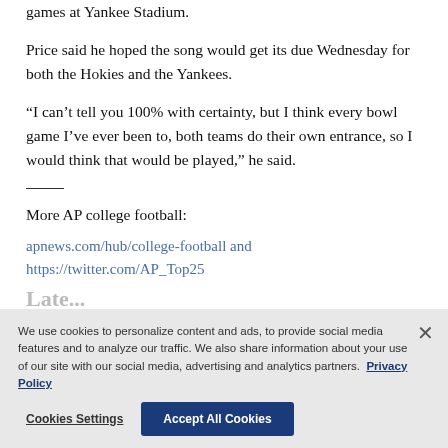games at Yankee Stadium.
Price said he hoped the song would get its due Wednesday for both the Hokies and the Yankees.
“I can’t tell you 100% with certainty, but I think every bowl game I’ve ever been to, both teams do their own entrance, so I would think that would be played,” he said.
More AP college football:
apnews.com/hub/college-football and https://twitter.com/AP_Top25
Latest News
We use cookies to personalize content and ads, to provide social media features and to analyze our traffic. We also share information about your use of our site with our social media, advertising and analytics partners. Privacy Policy